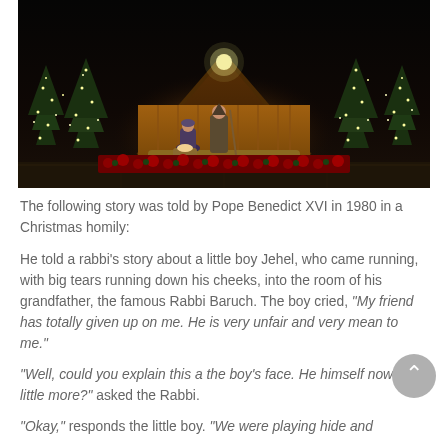[Figure (photo): Nativity scene with illuminated wooden stable, figurines of Mary and Joseph, surrounded by Christmas trees decorated with lights and red poinsettias at the base, set against a dark night background]
The following story was told by Pope Benedict XVI in 1980 in a Christmas homily:
He told a rabbi's story about a little boy Jehel, who came running, with big tears running down his cheeks, into the room of his grandfather, the famous Rabbi Baruch. The boy cried, "My friend has totally given up on me. He is very unfair and very mean to me."
"Well, could you explain this a the boy's face. He himself now has little more?" asked the Rabbi.
"Okay," responds the little boy. "We were playing hide and